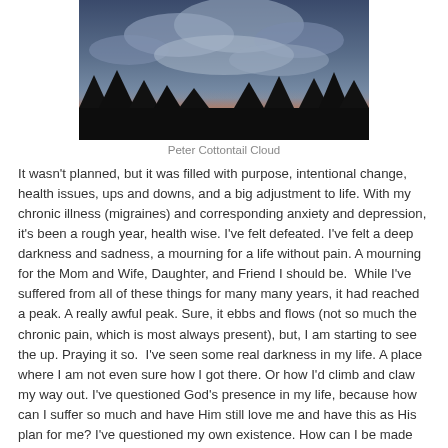[Figure (photo): Dramatic sunset sky with storm clouds in shades of blue, grey, and orange-red glow near the horizon, with dark silhouetted trees along the bottom edge.]
Peter Cottontail Cloud
It wasn't planned, but it was filled with purpose, intentional change, health issues, ups and downs, and a big adjustment to life. With my chronic illness (migraines) and corresponding anxiety and depression, it's been a rough year, health wise. I've felt defeated. I've felt a deep darkness and sadness, a mourning for a life without pain. A mourning for the Mom and Wife, Daughter, and Friend I should be.  While I've suffered from all of these things for many many years, it had reached a peak. A really awful peak. Sure, it ebbs and flows (not so much the chronic pain, which is most always present), but, I am starting to see the up. Praying it so.  I've seen some real darkness in my life. A place where I am not even sure how I got there. Or how I'd climb and claw my way out. I've questioned God's presence in my life, because how can I suffer so much and have Him still love me and have this as His plan for me? I've questioned my own existence. How can I be made for this Earth